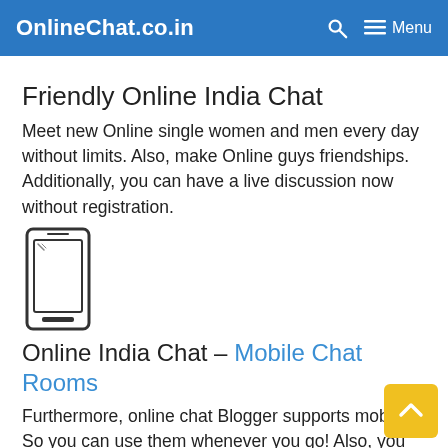OnlineChat.co.in  🔍  ☰ Menu
Friendly Online India Chat
Meet new Online single women and men every day without limits. Also, make Online guys friendships. Additionally, you can have a live discussion now without registration.
[Figure (illustration): Line drawing icon of a mobile/tablet device (smartphone outline)]
Online India Chat – Mobile Chat Rooms
Furthermore, online chat Blogger supports mobiles. So you can use them whenever you go! Also, you can chat on iPhone or use online chat India chat apps on android. Further, chat is